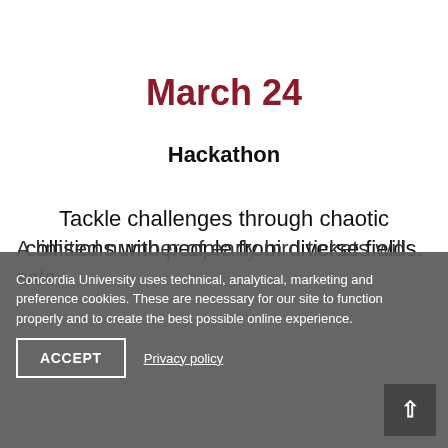March 24
Hackathon
Tackle challenges through chaotic collisions with people from diverse fields.
A limited number of early bird tickets will be on sale.
Concordia University uses technical, analytical, marketing and preference cookies. These are necessary for our site to function properly and to create the best possible online experience.
ACCEPT
Privacy policy